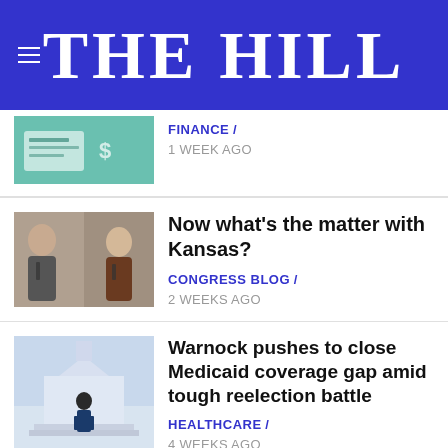THE HILL
[Figure (screenshot): Thumbnail image related to finance article]
FINANCE / 1 WEEK AGO
[Figure (photo): Two people at microphones - Congress Blog article thumbnail]
Now what's the matter with Kansas?
CONGRESS BLOG / 2 WEEKS AGO
[Figure (photo): Person walking up Capitol steps - Warnock article thumbnail]
Warnock pushes to close Medicaid coverage gap amid tough reelection battle
HEALTHCARE / 4 WEEKS AGO
[Figure (photo): Biden portrait thumbnail]
Biden will order HHS to consider